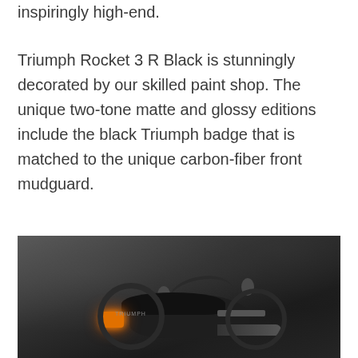inspiringly high-end.
Triumph Rocket 3 R Black is stunningly decorated by our skilled paint shop. The unique two-tone matte and glossy editions include the black Triumph badge that is matched to the unique carbon-fiber front mudguard.
[Figure (photo): A Triumph Rocket 3 R Black motorcycle photographed from the rear-left angle against a dark stone background. The bike is matte black with an illuminated amber/orange rear indicator light visible, and a 'TRIUMPH' badge on the side. The seat, handlebars, mirrors, and exhaust are visible.]